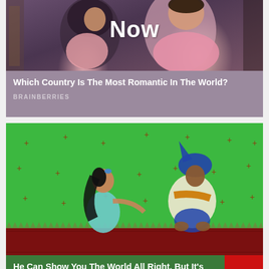[Figure (photo): Photo of a couple, man in pink shirt and woman in dark hijab, with 'Now' text overlay. Background is blurred outdoor setting.]
Now
Which Country Is The Most Romantic In The World?
BRAINBERRIES
[Figure (illustration): Aladdin cartoon characters (Jasmine and Aladdin in disguise) on a green screen background with decorative plus marks and a dark red border at the bottom.]
He Can Show You The World All Right, But It's All Green
BRAINBERRIES